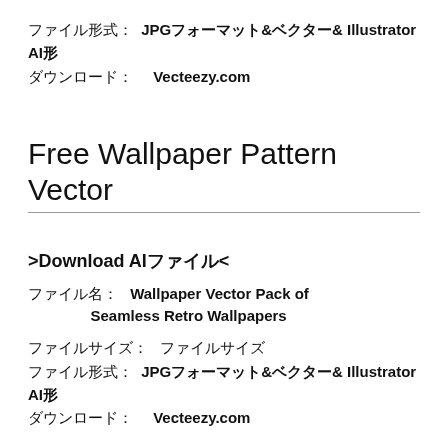ファイル形式: JPGフォーマット&ベクター& Illustrator AI形式
ダウンロード:  Vecteezy.com
Free Wallpaper Pattern Vector
>Download AIファイル<
ファイル名:  Wallpaper Vector Pack of Seamless Retro Wallpapers
ファイルサイズ:  ファイルサイズ
ファイル形式: JPGフォーマット&ベクター& Illustrator AI形式
ダウンロード:  Vecteezy.com